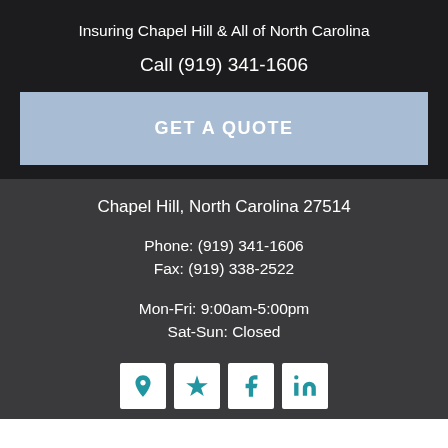Insuring Chapel Hill & All of North Carolina
Call (919) 341-1606
GET A QUOTE
Chapel Hill, North Carolina 27514
Phone: (919) 341-1606
Fax: (919) 338-2522
Mon-Fri: 9:00am-5:00pm
Sat-Sun: Closed
[Figure (infographic): Row of four social/map icon buttons: Google Maps pin, Yelp star, Facebook f, LinkedIn in — each white square with teal icon]